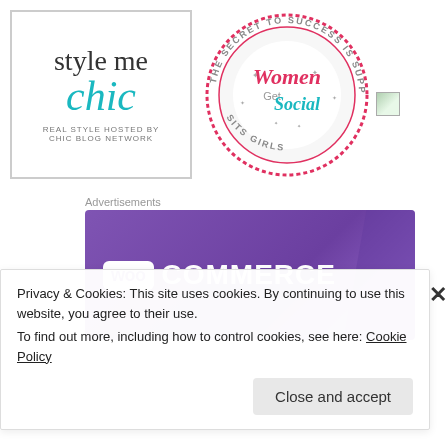[Figure (logo): Style Me Chic logo — 'style me' in dark grey serif, 'chic' in teal italic script, subtitle 'REAL STYLE HOSTED BY CHIC BLOG NETWORK' in small caps, bordered box]
[Figure (logo): Women Get Social circular badge logo — pink dotted border, text 'THE SECRET TO SUCCESS IS SUPPORT SITS GIRLS' around edge, 'Women Get Social' in centre with decorative stars]
[Figure (photo): Small broken/placeholder image icon]
Advertisements
[Figure (logo): WooCommerce advertisement banner — purple gradient background with WooCommerce logo in white]
Privacy & Cookies: This site uses cookies. By continuing to use this website, you agree to their use.
To find out more, including how to control cookies, see here: Cookie Policy
Close and accept